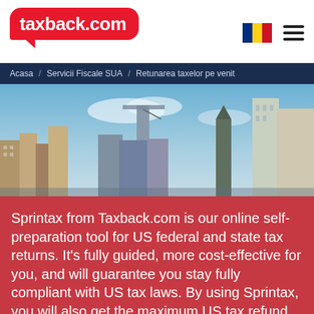[Figure (logo): taxback.com logo in red speech bubble with white text]
[Figure (other): Romanian flag (blue, yellow, red vertical stripes) and hamburger menu icon]
Acasa / Servicii Fiscale SUA / Retunarea taxelor pe venit
[Figure (photo): New York City skyline photo with skyscrapers under blue sky]
Sprintax from Taxback.com is our online self-preparation tool for US federal and state tax returns. It's fully guided, more cost-effective for you, and will guarantee you stay fully compliant with US tax laws. By using Sprintax, you will also get the maximum US tax refund.